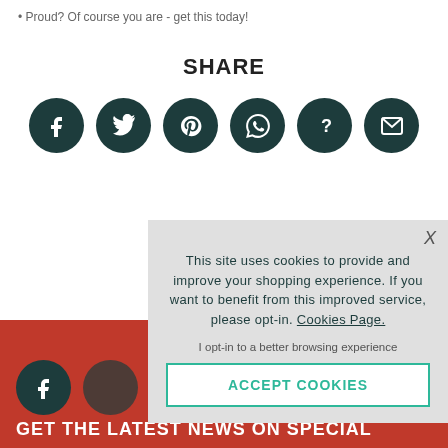Proud? Of course you are - get this today!
SHARE
[Figure (infographic): Row of six circular dark teal social share buttons: Facebook, Twitter, Pinterest, WhatsApp, Question mark, Email/envelope icons]
This site uses cookies to provide and improve your shopping experience. If you want to benefit from this improved service, please opt-in. Cookies Page.
I opt-in to a better browsing experience
ACCEPT COOKIES
[Figure (infographic): Red footer bar with dark teal Facebook circle icon and partial second circle icon, followed by text GET THE LATEST NEWS ON SPECIAL in white uppercase]
GET THE LATEST NEWS ON SPECIAL